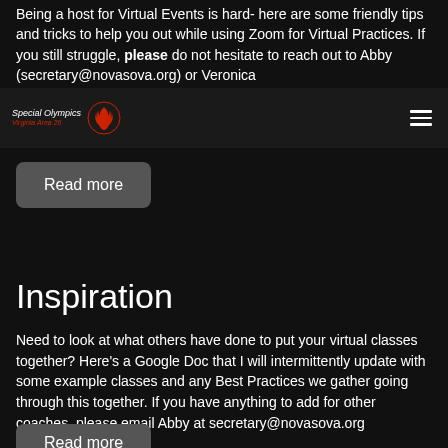Being a host for Virtual Events is hard- here are some friendly tips and tricks to help you out while using Zoom for Virtual Practices. If you still struggle, please do not hesitate to reach out to Abby (secretary@novasova.org) or Veronica
[Figure (logo): Special Olympics Virginia Area 26 logo with red flame/torch icon, navigation bar with hamburger menu]
Read more
Inspiration
Need to look at what others have done to put your virtual classes together? Here’s a Google Doc that I will intermittently update with some example classes and any Best Practices we gather going through this together. If you have anything to add for other coaches, please email Abby at secretary@novasova.org
Read more